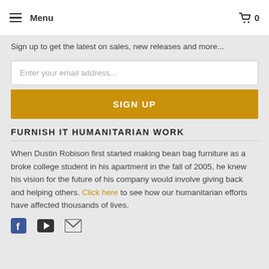Menu  0
Sign up to get the latest on sales, new releases and more...
Enter your email address...
SIGN UP
FURNISH IT HUMANITARIAN WORK
When Dustin Robison first started making bean bag furniture as a broke college student in his apartment in the fall of 2005, he knew his vision for the future of his company would involve giving back and helping others. Click here to see how our humanitarian efforts have affected thousands of lives.
[Figure (illustration): Social media icons: Facebook, YouTube, and email envelope]